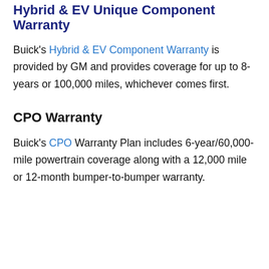Hybrid & EV Unique Component Warranty
Buick's Hybrid & EV Component Warranty is provided by GM and provides coverage for up to 8-years or 100,000 miles, whichever comes first.
CPO Warranty
Buick's CPO Warranty Plan includes 6-year/60,000-mile powertrain coverage along with a 12,000 mile or 12-month bumper-to-bumper warranty.